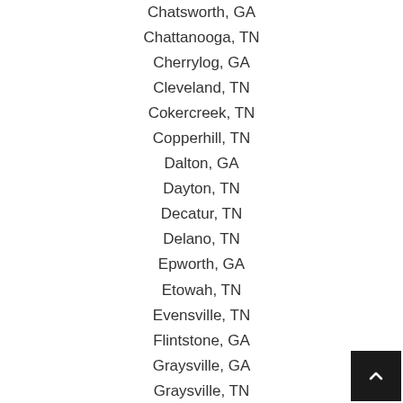Chatsworth, GA
Chattanooga, TN
Cherrylog, GA
Cleveland, TN
Cokercreek, TN
Copperhill, TN
Dalton, GA
Dayton, TN
Decatur, TN
Delano, TN
Epworth, GA
Etowah, TN
Evensville, TN
Flintstone, GA
Graysville, GA
Graysville, TN
Hixson, TN
Jasper, GA